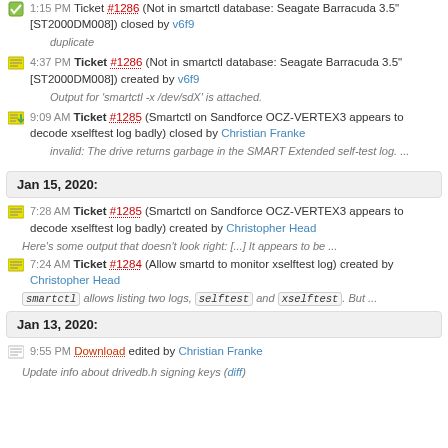1:15 PM Ticket #1286 (Not in smartctl database: Seagate Barracuda 3.5" [ST2000DM008]) closed by v6f9
duplicate
4:37 PM Ticket #1286 (Not in smartctl database: Seagate Barracuda 3.5" [ST2000DM008]) created by v6f9
Output for 'smartctl -x /dev/sdX' is attached.
9:09 AM Ticket #1285 (Smartctl on Sandforce OCZ-VERTEX3 appears to decode xselftest log badly) closed by Christian Franke
invalid: The drive returns garbage in the SMART Extended self-test log. ...
Jan 15, 2020:
7:28 AM Ticket #1285 (Smartctl on Sandforce OCZ-VERTEX3 appears to decode xselftest log badly) created by Christopher Head
Here's some output that doesn't look right: [...] It appears to be ...
7:24 AM Ticket #1284 (Allow smartd to monitor xselftest log) created by Christopher Head
smartctl allows listing two logs, selftest and xselftest. But ...
Jan 13, 2020:
9:55 PM Download edited by Christian Franke
Update info about drivedb.h signing keys (diff)